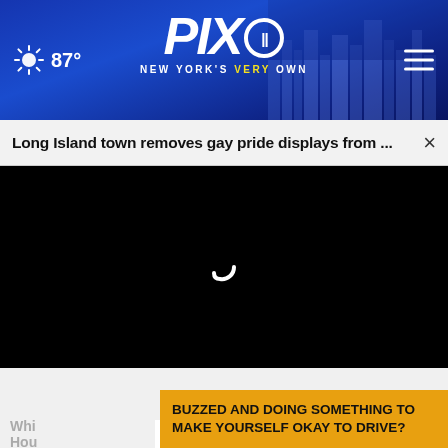87° PIX11 NEW YORK'S VERY OWN
Long Island town removes gay pride displays from ...  ×
[Figure (screenshot): Black video player area with loading spinner (white arc/comma shape) centered on black background]
WHAT DO YOU THINK?
BUZZED AND DOING SOMETHING TO MAKE YOURSELF OKAY TO DRIVE?
Whi Hou